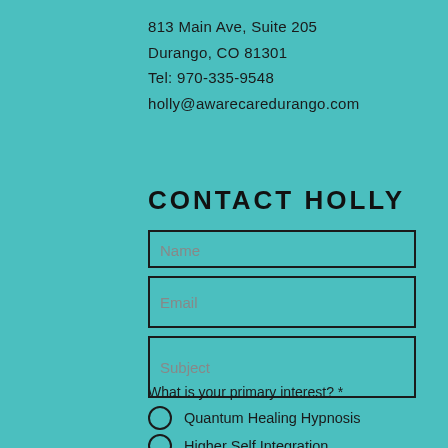813 Main Ave, Suite 205
Durango, CO  81301
Tel: 970-335-9548
holly@awarecaredurango.com
CONTACT HOLLY
Name
Email
Subject
What is your primary interest? *
Quantum Healing Hypnosis
Higher Self Integration
Existential Therapy